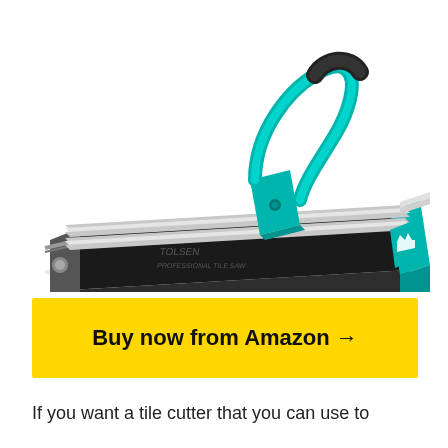[Figure (photo): A professional manual tile cutter tool with a teal/turquoise colored frame, chrome guide rails, black base, and a long handle with ergonomic grip. The tool is shown in a perspective/isometric view on a white background.]
Buy now from Amazon →
If you want a tile cutter that you can use to